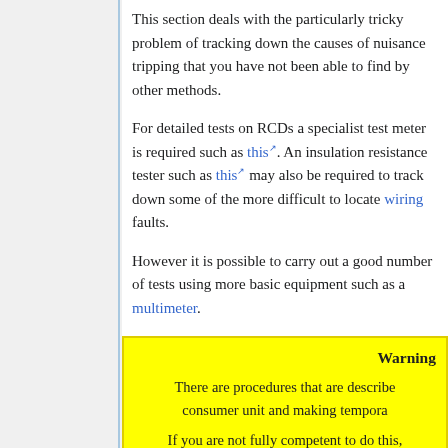This section deals with the particularly tricky problem of tracking down the causes of nuisance tripping that you have not been able to find by other methods.
For detailed tests on RCDs a specialist test meter is required such as this. An insulation resistance tester such as this may also be required to track down some of the more difficult to locate wiring faults.
However it is possible to carry out a good number of tests using more basic equipment such as a multimeter.
Warning
There are procedures that are described consumer unit and making tempora
If you are not fully competent to do this,